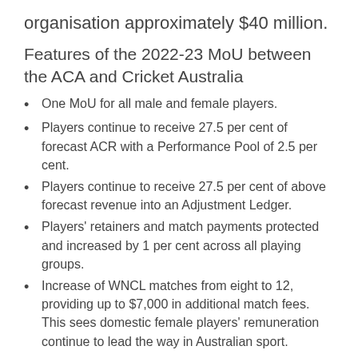organisation approximately $40 million.
Features of the 2022-23 MoU between the ACA and Cricket Australia
One MoU for all male and female players.
Players continue to receive 27.5 per cent of forecast ACR with a Performance Pool of 2.5 per cent.
Players continue to receive 27.5 per cent of above forecast revenue into an Adjustment Ledger.
Players' retainers and match payments protected and increased by 1 per cent across all playing groups.
Increase of WNCL matches from eight to 12, providing up to $7,000 in additional match fees. This sees domestic female players' remuneration continue to lead the way in Australian sport.
The Players' Grassroots Cricket Fund will continue to support grassroots cricket with unspent amount